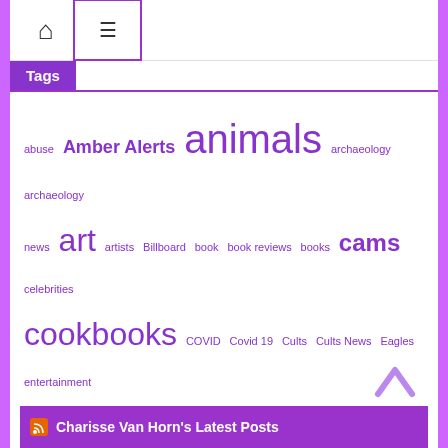[Figure (infographic): Navigation bar with home icon and hamburger menu icon in a bordered box]
Tags
abuse Amber Alerts animals archaeology archaeology news art artists Billboard book book reviews books cams celebrities cookbooks COVID Covid 19 Cults Cults News Eagles entertainment Florida kidnapped live cams missing Missing Children movie reviews movies Music nature nature cams New music releases news penguins poetry poets politics press release recipes reviews sexual abuse television tv viral videos what's on tv Work From Home
Charisse Van Horn's Latest Posts